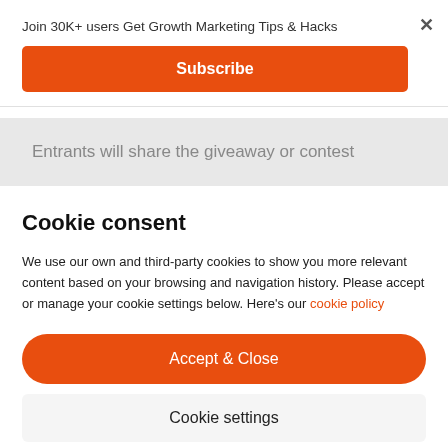Join 30K+ users Get Growth Marketing Tips & Hacks
Subscribe
Entrants will share the giveaway or contest
Cookie consent
We use our own and third-party cookies to show you more relevant content based on your browsing and navigation history. Please accept or manage your cookie settings below. Here's our cookie policy
Accept & Close
Cookie settings